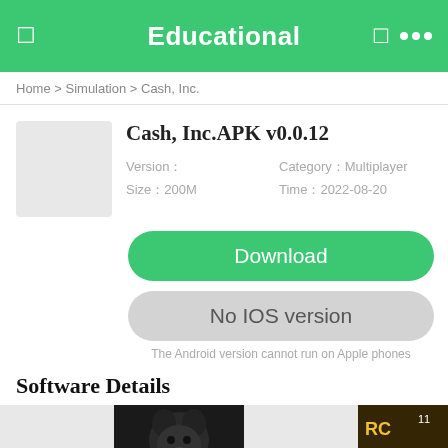Educational
Home > Simulation > Cash, Inc.
Cash, Inc.APK v0.0.12
Version：  Category：Multiplayer
Size：200M  Time：2022-08-20
Download
No IOS version
The Android version cannot run on Apple phones
Software Details
[Figure (photo): App screenshot thumbnails row showing game images including a mouse/rat illustration and a game cover]